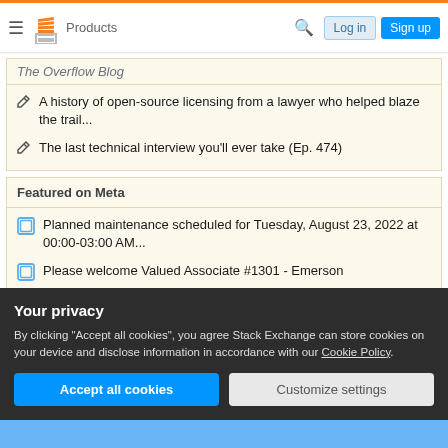≡ [Stack Overflow logo] Products 🔍 Log in Sign up
The Overflow Blog
A history of open-source licensing from a lawyer who helped blaze the trail...
The last technical interview you'll ever take (Ep. 474)
Featured on Meta
Planned maintenance scheduled for Tuesday, August 23, 2022 at 00:00-03:00 AM...
Please welcome Valued Associate #1301 - Emerson
Staging Ground Workflow: Question Lifecycle
Your privacy

By clicking "Accept all cookies", you agree Stack Exchange can store cookies on your device and disclose information in accordance with our Cookie Policy.
Accept all cookies   Customize settings